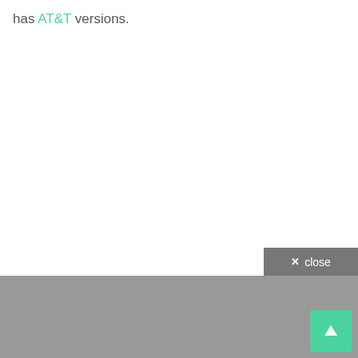has AT&T versions.
[Figure (screenshot): Close button overlay with '× close' label in dark grey bar at bottom right of white content area]
[Figure (screenshot): Green scroll-to-top button with upward arrow in bottom right corner over grey background section]